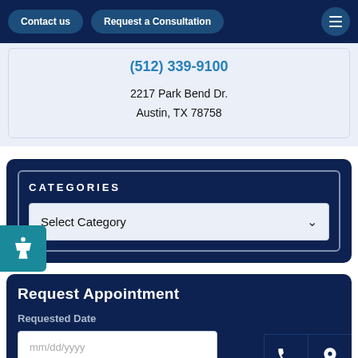Contact us | Request a Consultation
(512) 339-9100
2217 Park Bend Dr.
Austin, TX 78758
CATEGORIES
Select Category
Request Appointment
Requested Date
mm/dd/yyyy